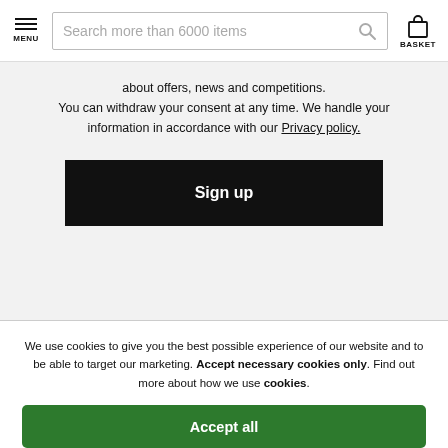MENU | Search more than 6000 items | BASKET
about offers, news and competitions. You can withdraw your consent at any time. We handle your information in accordance with our Privacy policy.
Sign up
We use cookies to give you the best possible experience of our website and to be able to target our marketing. Accept necessary cookies only. Find out more about how we use cookies.
Accept all